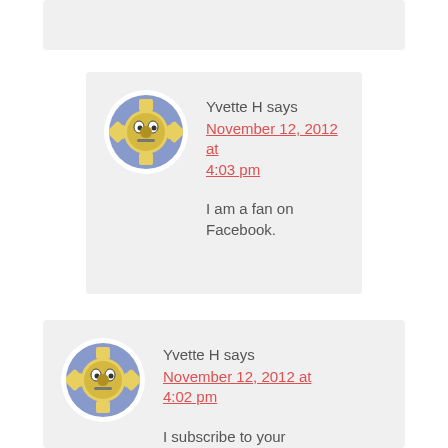[Figure (screenshot): Top portion of a comment block (clipped at top of page)]
Yvette H says
November 12, 2012 at 4:03 pm

I am a fan on Facebook.
Yvette H says
November 12, 2012 at 4:02 pm

I subscribe to your